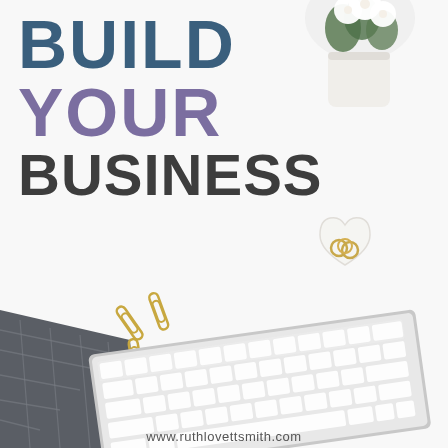[Figure (photo): Flat lay desk scene with white background: white flower/plant in pot (top right), heart-shaped dish with gold rings (center right), gold paper clips scattered (lower left), dark plaid fabric/cloth (bottom left), silver wireless keyboard (bottom center-right)]
BUILD YOUR BUSINESS
www.ruthlovettsmith.com